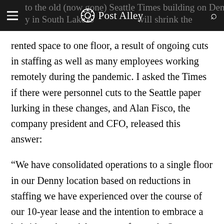Post Alley
rented space to one floor, a result of ongoing cuts in staffing as well as many employees working remotely during the pandemic. I asked the Times if there were personnel cuts to the Seattle paper lurking in these changes, and Alan Fisco, the company president and CFO, released this answer:
“We have consolidated operations to a single floor in our Denny location based on reductions in staffing we have experienced over the course of our 10-year lease and the intention to embrace a hybrid work model as we go forward.  Our teams have adapted very well to remote work and we intend to continue that in some form once we return to in-office work.  This